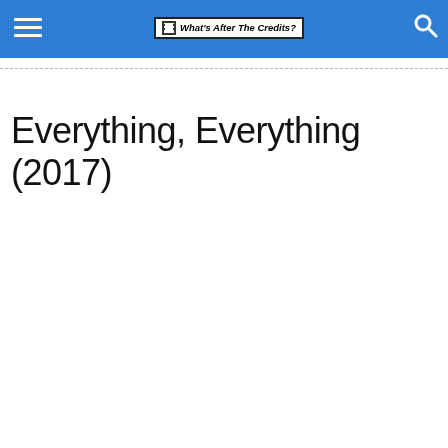What's After The Credits?
Everything, Everything (2017)